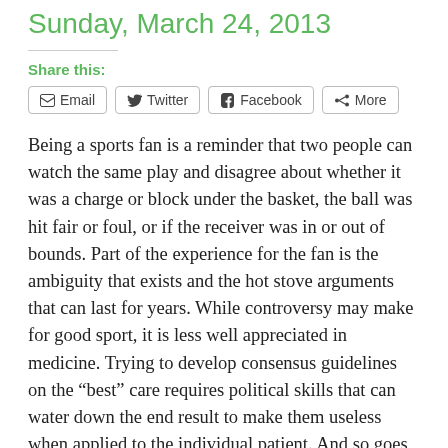Sunday, March 24, 2013
Share this:
Email   Twitter   Facebook   More
Being a sports fan is a reminder that two people can watch the same play and disagree about whether it was a charge or block under the basket, the ball was hit fair or foul, or if the receiver was in or out of bounds. Part of the experience for the fan is the ambiguity that exists and the hot stove arguments that can last for years. While controversy may make for good sport, it is less well appreciated in medicine. Trying to develop consensus guidelines on the “best” care requires political skills that can water down the end result to make them useless when applied to the individual patient. And so goes the concussion saga in medicine today.